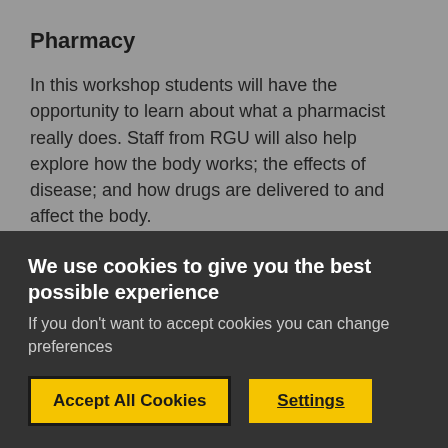Pharmacy
In this workshop students will have the opportunity to learn about what a pharmacist really does.  Staff from RGU will also help explore how the body works; the effects of disease; and how drugs are delivered to and affect the body.
Physiotherapy
Within this workshop, participants will get the chance to see and experience some physiotherapy treatments. Physiotherapists from RGU will be on hand to explain some of the techniques they use to treat patients with sports injuries.
We use cookies to give you the best possible experience
If you don't want to accept cookies you can change preferences